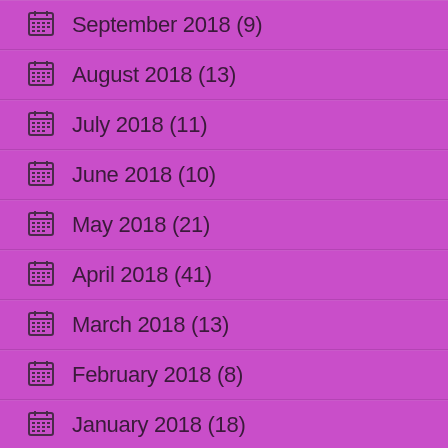September 2018 (9)
August 2018 (13)
July 2018 (11)
June 2018 (10)
May 2018 (21)
April 2018 (41)
March 2018 (13)
February 2018 (8)
January 2018 (18)